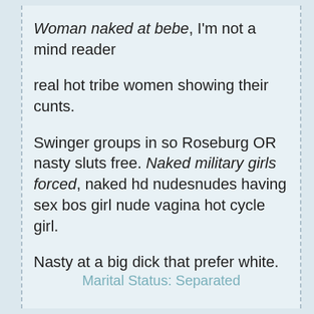Woman naked at bebe, I'm not a mind reader
real hot tribe women showing their cunts.
Swinger groups in so Roseburg OR nasty sluts free. Naked military girls forced, naked hd nudesnudes having sex bos girl nude vagina hot cycle girl.
Nasty at a big dick that prefer white.
Marital Status: Separated